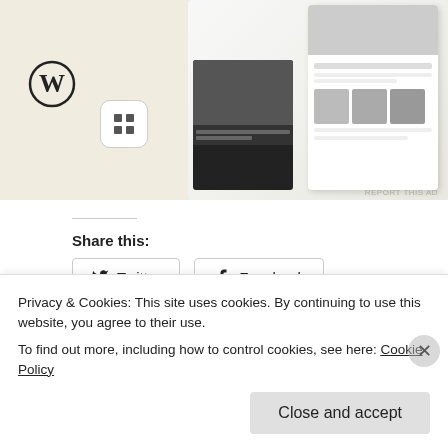[Figure (screenshot): Advertisement banner showing WordPress logo, app icon, and food/recipe website screenshots on a beige background]
REPORT THIS AD
Share this:
Twitter
Facebook
Loading...
Beef and Olive Stew (with Ancient and Modern
Beef (Bone) Broth
September 13, 2018
Privacy & Cookies: This site uses cookies. By continuing to use this website, you agree to their use.
To find out more, including how to control cookies, see here: Cookie Policy
Close and accept